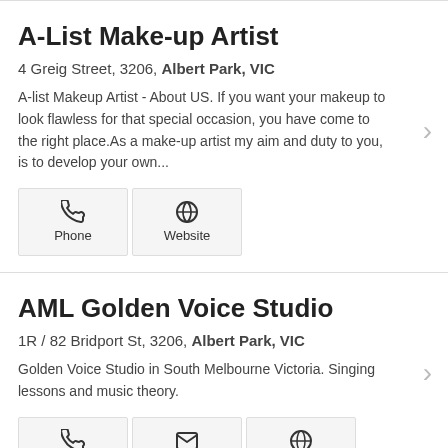A-List Make-up Artist
4 Greig Street, 3206, Albert Park, VIC
A-list Makeup Artist - About US. If you want your makeup to look flawless for that special occasion, you have come to the right place.As a make-up artist my aim and duty to you, is to develop your own...
AML Golden Voice Studio
1R / 82 Bridport St, 3206, Albert Park, VIC
Golden Voice Studio in South Melbourne Victoria. Singing lessons and music theory.